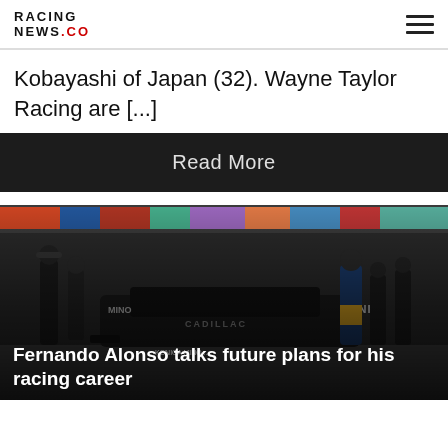RACING NEWS.CO
Kobayashi of Japan (32). Wayne Taylor Racing are [...]
Read More
[Figure (photo): Racing pit crew working on a Cadillac prototype race car (number 48) in a pit lane, with mechanics in dark uniforms and one person in a blue and yellow jacket, colorful grandstand visible in background.]
Fernando Alonso talks future plans for his racing career